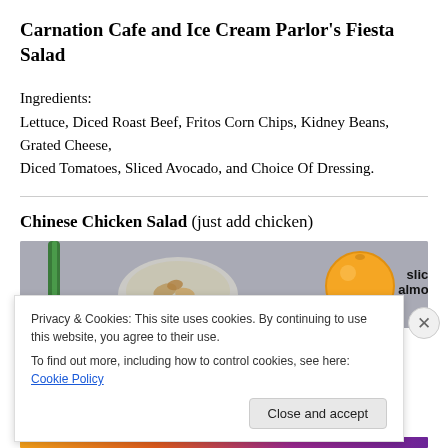Carnation Cafe and Ice Cream Parlor’s Fiesta Salad
Ingredients:
Lettuce, Diced Roast Beef, Fritos Corn Chips, Kidney Beans, Grated Cheese,
Diced Tomatoes, Sliced Avocado, and Choice Of Dressing.
Chinese Chicken Salad (just add chicken)
[Figure (photo): Overhead photo of salad ingredients including sliced almonds in a bowl, a green onion, and an orange on a gray surface. Text overlay reads 'sliced almonds'.]
Privacy & Cookies: This site uses cookies. By continuing to use this website, you agree to their use.
To find out more, including how to control cookies, see here: Cookie Policy
Close and accept